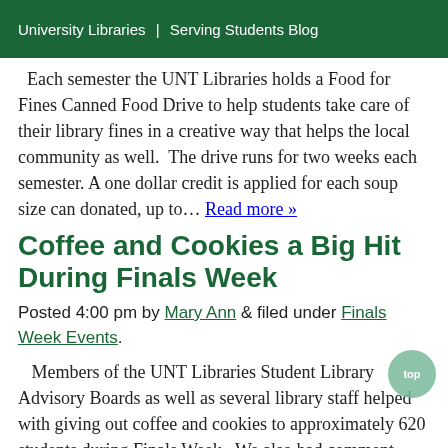University Libraries | Serving Students Blog
Each semester the UNT Libraries holds a Food for Fines Canned Food Drive to help students take care of their library fines in a creative way that helps the local community as well.  The drive runs for two weeks each semester. A one dollar credit is applied for each soup size can donated, up to… Read more »
Coffee and Cookies a Big Hit During Finals Week
Posted 4:00 pm by Mary Ann & filed under Finals Week Events.
Members of the UNT Libraries Student Library Advisory Boards as well as several library staff helped with giving out coffee and cookies to approximately 620 students during Finals Week.  We also had comment cards available for students to fill out and here were some of the comments we received. Thanks for the